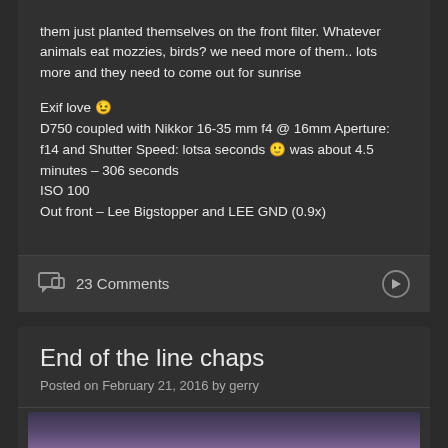them just planted themselves on the front filter. Whatever animals eat mozzies, birds? we need more of them.. lots more and they need to come out for sunrise

Exif love 😉
D750 coupled with Nikkor 16-35 mm f4 @ 16mm Aperture: f14 and Shutter Speed: lotsa seconds 🙂 was about 4.5 minutes – 306 seconds
ISO 100
Out front – Lee Bigstopper and LEE GND (0.9x)
23 Comments
End of the line chaps
Posted on February 21, 2016 by gerry
[Figure (photo): Partial view of a photograph showing a dark landscape with purple and light tones, appearing to be a night or twilight scene]